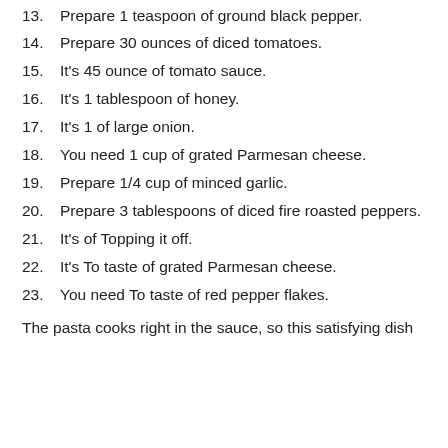13.  Prepare 1 teaspoon of ground black pepper.
14.  Prepare 30 ounces of diced tomatoes.
15.  It's 45 ounce of tomato sauce.
16.  It's 1 tablespoon of honey.
17.  It's 1 of large onion.
18.  You need 1 cup of grated Parmesan cheese.
19.  Prepare 1/4 cup of minced garlic.
20.  Prepare 3 tablespoons of diced fire roasted peppers.
21.  It's of Topping it off.
22.  It's To taste of grated Parmesan cheese.
23.  You need To taste of red pepper flakes.
The pasta cooks right in the sauce, so this satisfying dish